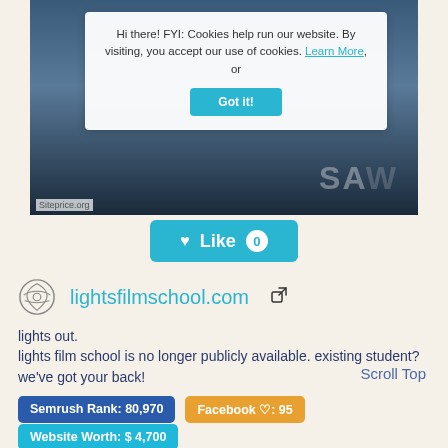[Figure (screenshot): Screenshot of lightsfilmschool.com showing a cookie consent popup over a dark background image. The popup reads: 'Hi there! FYI: Cookies help run our website. By visiting, you accept our use of cookies. Learn More, or Got it!' There is a 'Got it!' button in teal. The siteprice.org watermark is visible.]
♥ Like 0
lightsfilmschool.com
lights out.
lights film school is no longer publicly available. existing student? we've got your back!
Scroll Top
Semrush Rank: 80,970
Facebook ♡: 95
Website Worth: $ 4,700
Categories: Education/Reference, Education